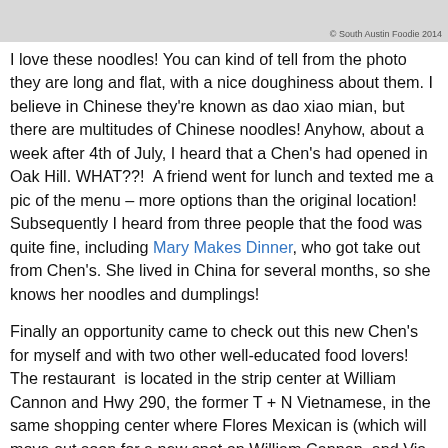[Figure (photo): Partial photo of noodles with watermark '© South Austin Foodie 2014' at bottom right]
I love these noodles! You can kind of tell from the photo they are long and flat, with a nice doughiness about them. I believe in Chinese they're known as dao xiao mian, but there are multitudes of Chinese noodles! Anyhow, about a week after 4th of July, I heard that a Chen's had opened in Oak Hill. WHAT??!  A friend went for lunch and texted me a pic of the menu – more options than the original location! Subsequently I heard from three people that the food was quite fine, including Mary Makes Dinner, who got take out from Chen's. She lived in China for several months, so she knows her noodles and dumplings!
Finally an opportunity came to check out this new Chen's for myself and with two other well-educated food lovers! The restaurant  is located in the strip center at William Cannon and Hwy 290, the former T + N Vietnamese, in the same shopping center where Flores Mexican is (which will move out soon for a new spot on William Cannon, and Via 313 Pizza will move in – yay!). Construction abounds, however.
I've always thought Chen's made amazing green onion...